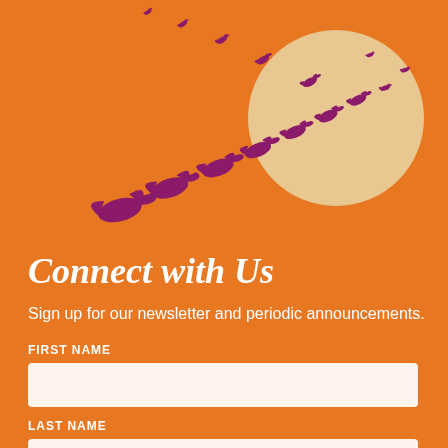[Figure (illustration): Flock of purple/magenta birds (geese or cranes) flying in a V-formation arc from lower-left to upper-right, with a large tan/beige circle (sun) in the upper-right, all on an orange background.]
Connect with Us
Sign up for our newsletter and periodic announcements.
FIRST NAME
LAST NAME